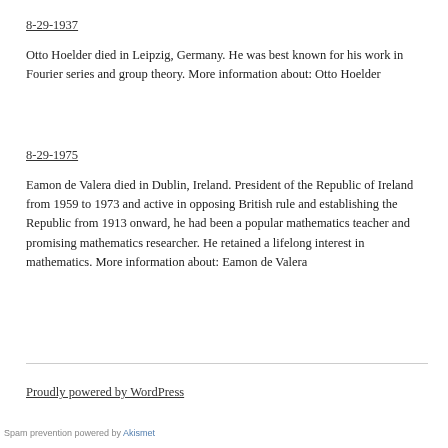8-29-1937
Otto Hoelder died in Leipzig, Germany. He was best known for his work in Fourier series and group theory. More information about: Otto Hoelder
8-29-1975
Eamon de Valera died in Dublin, Ireland. President of the Republic of Ireland from 1959 to 1973 and active in opposing British rule and establishing the Republic from 1913 onward, he had been a popular mathematics teacher and promising mathematics researcher. He retained a lifelong interest in mathematics. More information about: Eamon de Valera
Proudly powered by WordPress
Spam prevention powered by Akismet